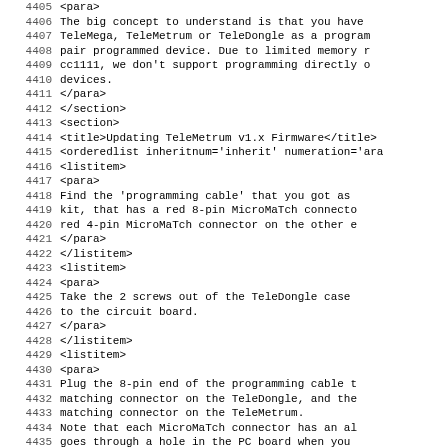Code listing showing XML source lines 4405-4436 of a firmware documentation file, including para, section, orderedlist, and listitem XML tags.